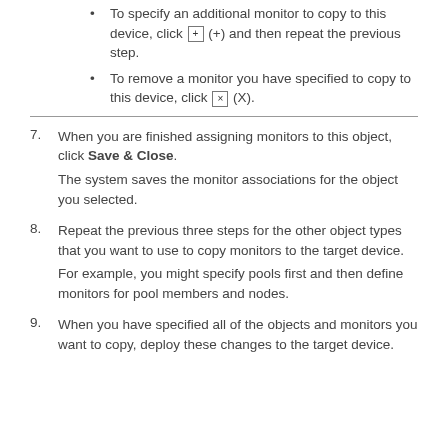To specify an additional monitor to copy to this device, click (+) and then repeat the previous step.
To remove a monitor you have specified to copy to this device, click (X).
7. When you are finished assigning monitors to this object, click Save & Close. The system saves the monitor associations for the object you selected.
8. Repeat the previous three steps for the other object types that you want to use to copy monitors to the target device. For example, you might specify pools first and then define monitors for pool members and nodes.
9. When you have specified all of the objects and monitors you want to copy, deploy these changes to the target device.